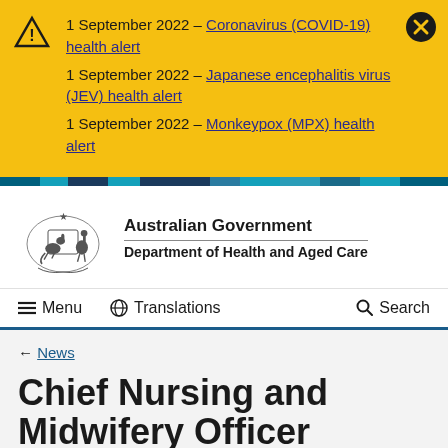1 September 2022 – Coronavirus (COVID-19) health alert
1 September 2022 – Japanese encephalitis virus (JEV) health alert
1 September 2022 – Monkeypox (MPX) health alert
[Figure (logo): Australian Government coat of arms logo with kangaroo and emu]
Australian Government
Department of Health and Aged Care
☰ Menu  🌐 Translations  🔍 Search
← News
Chief Nursing and Midwifery Officer interview